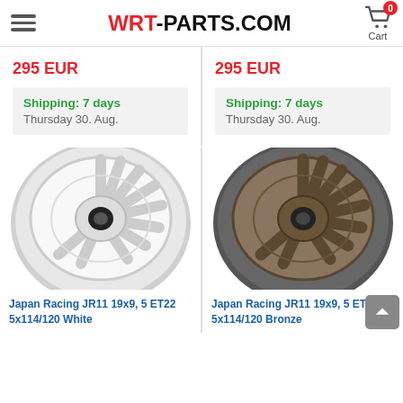WRT-PARTS.COM
295 EUR
Shipping: 7 days
Thursday 30. Aug.
295 EUR
Shipping: 7 days
Thursday 30. Aug.
[Figure (photo): White Japan Racing JR11 wheel, 10-spoke alloy, 19x9 size]
Japan Racing JR11 19x9, 5 ET22 5x114/120 White
[Figure (photo): Bronze Japan Racing JR11 wheel, 10-spoke alloy, 19x9 size]
Japan Racing JR11 19x9, 5 ET22 5x114/120 Bronze